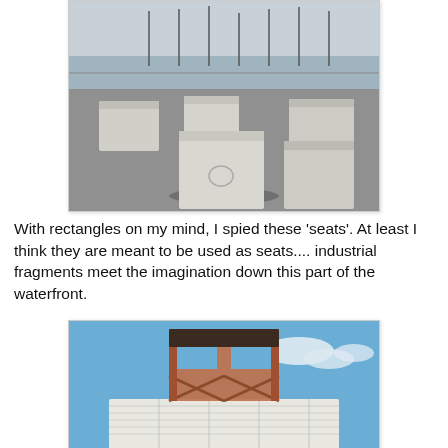[Figure (photo): Black and white photo of large concrete block seats arranged on a paved waterfront area, with sailboats and a marina visible in the background.]
With rectangles on my mind, I spied these 'seats'. At least I think they are meant to be used as seats.... industrial fragments meet the imagination down this part of the waterfront.
[Figure (photo): Color photo of an industrial metal structure (rusty steel frame/tower) mounted on top of a white shipping container, against a blue sky with clouds.]